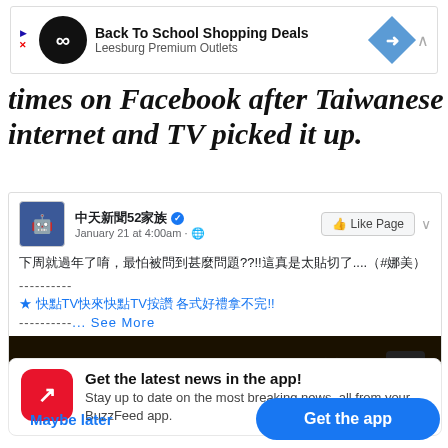[Figure (screenshot): Advertisement banner for Back To School Shopping Deals at Leesburg Premium Outlets]
times on Facebook after Taiwanese internet and TV picked it up.
[Figure (screenshot): Facebook post from 中天新聞52家族 (January 21 at 4:00am) with Chinese text about Lunar New Year questions, and a video thumbnail for 過年神曲有共鳴]
[Figure (screenshot): BuzzFeed app notification prompt: Get the latest news in the app! Stay up to date on the most breaking news, all from your BuzzFeed app. With Maybe later and Get the app buttons.]